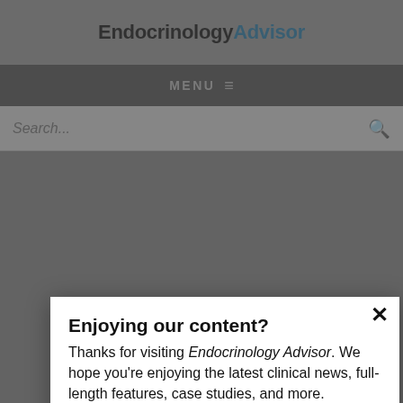EndocrinologyAdvisor
MENU ≡
Search...
Enjoying our content?
Thanks for visiting Endocrinology Advisor. We hope you're enjoying the latest clinical news, full-length features, case studies, and more.
You've viewed 1 of 5 articles this month. If you wish to read unlimited content, please log in or register below. Registration is free.
LOGIN
REGISTER